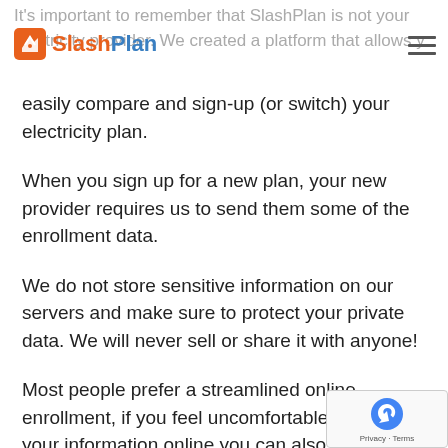SlashPlan logo and hamburger menu
It's important to remember that SlashPlan is not your electricity provider. We created a platform that allows you to easily compare and sign-up (or switch) your electricity plan.
When you sign up for a new plan, your new provider requires us to send them some of the enrollment data.
We do not store sensitive information on our servers and make sure to protect your private data. We will never sell or share it with anyone!
Most people prefer a streamlined online enrollment, if you feel uncomfortable submitting your information online you can also enroll over the phone.
This typically is the information an electric provider will require you to provide: